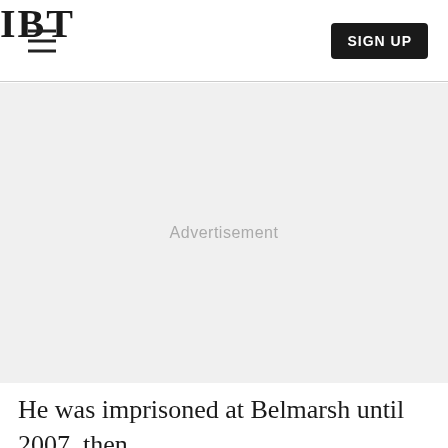IBT
[Figure (other): Advertisement placeholder area with light gray background and 'Advertisement' text label]
He was imprisoned at Belmarsh until 2007, then